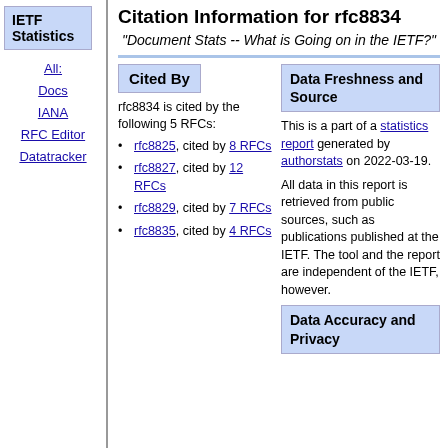IETF Statistics
All:
Docs
IANA
RFC Editor
Datatracker
Citation Information for rfc8834
"Document Stats -- What is Going on in the IETF?"
Cited By
rfc8834 is cited by the following 5 RFCs:
rfc8825, cited by 8 RFCs
rfc8827, cited by 12 RFCs
rfc8829, cited by 7 RFCs
rfc8835, cited by 4 RFCs
Data Freshness and Source
This is a part of a statistics report generated by authorstats on 2022-03-19.
All data in this report is retrieved from public sources, such as publications published at the IETF. The tool and the report are independent of the IETF, however.
Data Accuracy and Privacy